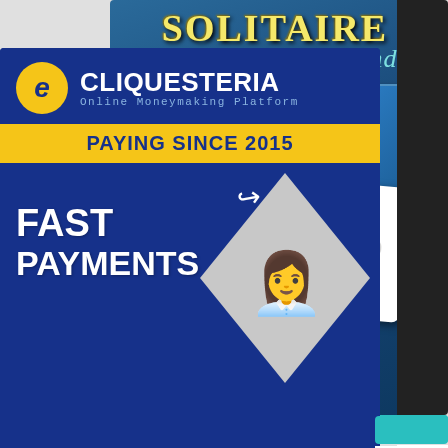[Figure (screenshot): Solitaire Grande game advertisement banner showing playing cards (Queen of Hearts, King of Spades, Ace of Spades, King of Clubs) on a blue background with the game title 'SOLITAIRE Grande' at the top]
[Figure (advertisement): Cliquesteria advertisement banner: dark blue background with yellow circle logo 'e' and white text 'CLIQUESTERIA Online Moneymaking Platform', yellow band reading 'PAYING SINCE 2015', and lower section with white bold text 'FAST PAYMENTS' alongside a woman sitting with a laptop on a grey diamond shape]